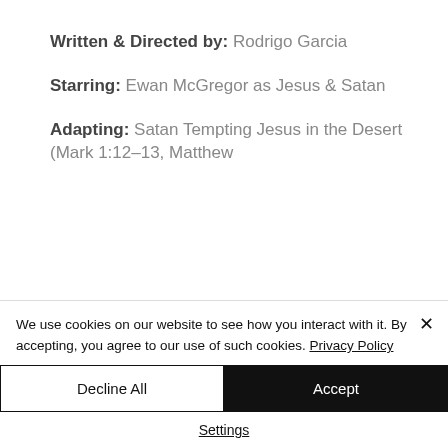Written & Directed by: Rodrigo Garcia
Starring: Ewan McGregor as Jesus & Satan
Adapting: Satan Tempting Jesus in the Desert (Mark 1:12-13, Matthew...
We use cookies on our website to see how you interact with it. By accepting, you agree to our use of such cookies. Privacy Policy
Decline All
Accept
Settings